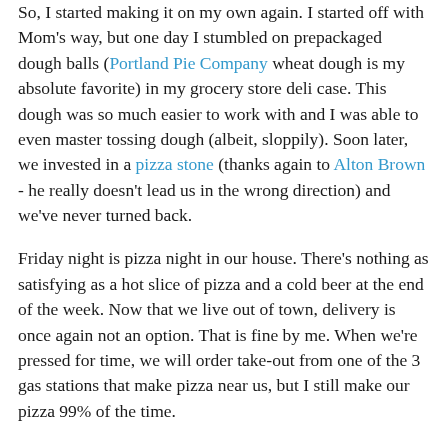So, I started making it on my own again. I started off with Mom's way, but one day I stumbled on prepackaged dough balls (Portland Pie Company wheat dough is my absolute favorite) in my grocery store deli case. This dough was so much easier to work with and I was able to even master tossing dough (albeit, sloppily). Soon later, we invested in a pizza stone (thanks again to Alton Brown - he really doesn't lead us in the wrong direction) and we've never turned back.
Friday night is pizza night in our house. There's nothing as satisfying as a hot slice of pizza and a cold beer at the end of the week. Now that we live out of town, delivery is once again not an option. That is fine by me. When we're pressed for time, we will order take-out from one of the 3 gas stations that make pizza near us, but I still make our pizza 99% of the time.
T came home one day with the idea that we need to grill pizza. It was an extremely hot summer day so I was more than willing to attempt grilling. If it meant not turning on the oven and heating up the kitchen from 100 degrees to 110 degrees, why wouldn't I try it? I have yet to brave putting my pizza directly on the grate, and I still use the Pizza Stone...